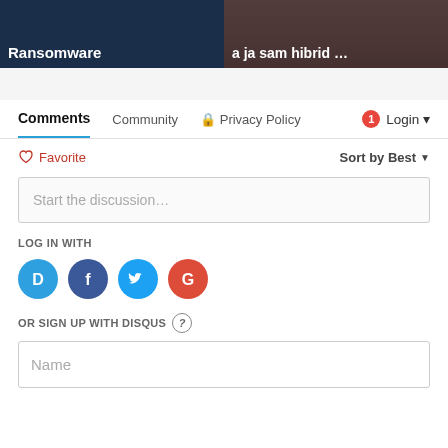[Figure (screenshot): Two article thumbnail images side by side. Left: dark navy background with white bold text 'Ransomware'. Right: image of people with white bold text 'a ja sam hibrid ...']
Comments   Community   Privacy Policy   Login
Favorite   Sort by Best
Start the discussion…
LOG IN WITH
[Figure (logo): Four social login icons: Disqus (blue D), Facebook (dark blue f), Twitter (light blue bird), Google (red G)]
OR SIGN UP WITH DISQUS ?
Name